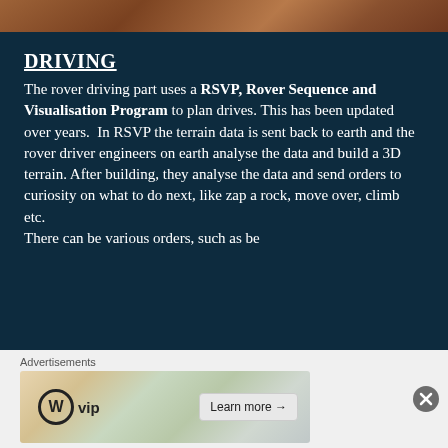[Figure (photo): Mars terrain photograph strip at top of page]
DRIVING
The rover driving part uses a RSVP, Rover Sequence and Visualisation Program to plan drives. This has been updated over years. In RSVP the terrain data is sent back to earth and the rover driver engineers on earth analyse the data and build a 3D terrain. After building, they analyse the data and send orders to curiosity on what to do next, like zap a rock, move over, climb etc.
There can be various orders, such as be
[Figure (advertisement): WordPress VIP advertisement banner with Learn more button]